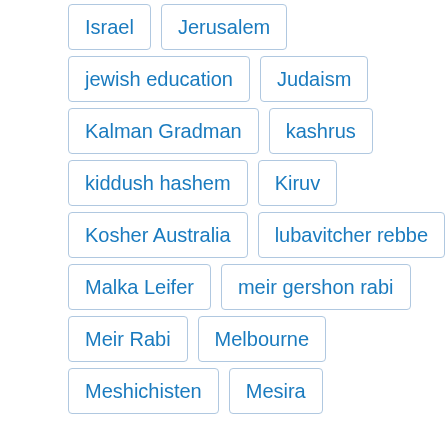Israel
Jerusalem
jewish education
Judaism
Kalman Gradman
kashrus
kiddush hashem
Kiruv
Kosher Australia
lubavitcher rebbe
Malka Leifer
meir gershon rabi
Meir Rabi
Melbourne
Meshichisten
Mesira